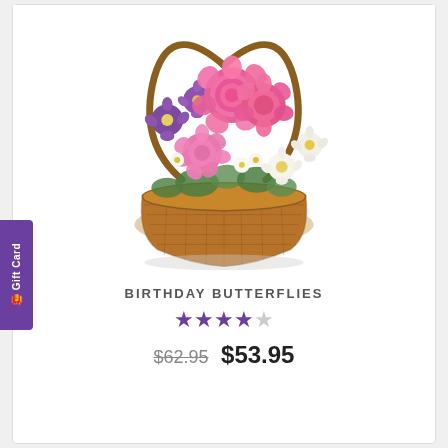[Figure (photo): A flower basket arrangement with pink carnations, purple asters, white daisies, and greenery in a wicker basket with a heart-shaped twig handle.]
BIRTHDAY BUTTERFLIES
4 out of 5 stars rating
$62.95  $53.95